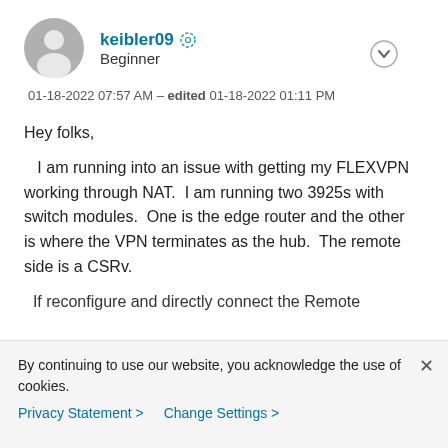keibler09 — Beginner
01-18-2022 07:57 AM - edited 01-18-2022 01:11 PM
Hey folks,

   I am running into an issue with getting my FLEXVPN working through NAT.  I am running two 3925s with switch modules.  One is the edge router and the other is where the VPN terminates as the hub.  The remote side is a CSRv.

   If reconfigure and directly connect the Remote
By continuing to use our website, you acknowledge the use of cookies.
Privacy Statement > Change Settings >